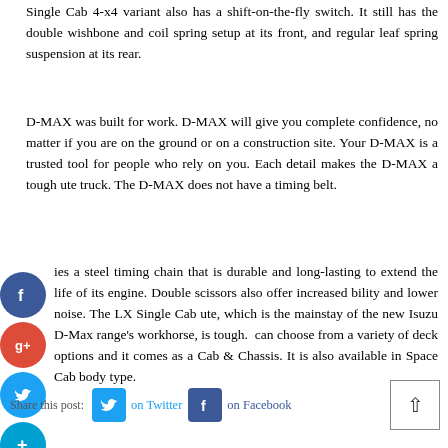Single Cab 4-x4 variant also has a shift-on-the-fly switch. It still has the double wishbone and coil spring setup at its front, and regular leaf spring suspension at its rear.
D-MAX was built for work. D-MAX will give you complete confidence, no matter if you are on the ground or on a construction site. Your D-MAX is a trusted tool for people who rely on you. Each detail makes the D-MAX a tough ute truck. The D-MAX does not have a timing belt.
uses a steel timing chain that is durable and long-lasting to extend the life of its engine. Double scissors also offer increased bility and lower noise. The LX Single Cab ute, which is the mainstay of the new Isuzu D-Max range's workhorse, is tough. can choose from a variety of deck options and it comes as a Cab & Chassis. It is also available in Space Cab body type.
Share this post:   on Twitter   on Facebook